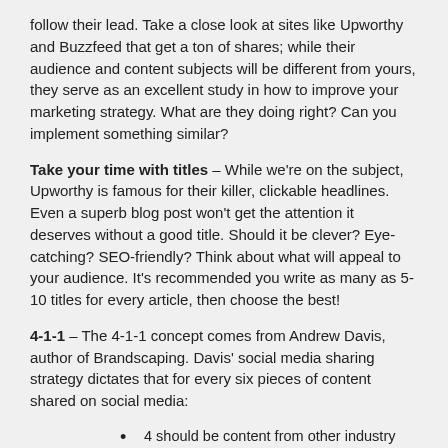follow their lead. Take a close look at sites like Upworthy and Buzzfeed that get a ton of shares; while their audience and content subjects will be different from yours, they serve as an excellent study in how to improve your marketing strategy. What are they doing right? Can you implement something similar?
Take your time with titles – While we're on the subject, Upworthy is famous for their killer, clickable headlines. Even a superb blog post won't get the attention it deserves without a good title. Should it be clever? Eye-catching? SEO-friendly? Think about what will appeal to your audience. It's recommended you write as many as 5-10 titles for every article, then choose the best!
4-1-1 – The 4-1-1 concept comes from Andrew Davis, author of Brandscaping. Davis' social media sharing strategy dictates that for every six pieces of content shared on social media:
4 should be content from other industry influencers that is relevant to your audience
1 should be your own original, educational content
1 should have a sales aspect (coupon, product news,